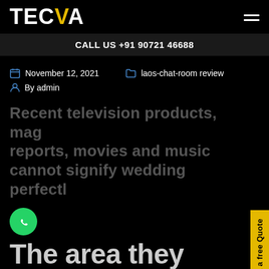TECVA
CALL US +91 90721 46688
November 12, 2021   laos-chat-room review
By admin
Recent television products, mag reports, movies and music cannot signify wedding perfectl
Get a free Quote
[Figure (illustration): WhatsApp green circle icon]
The area they actually